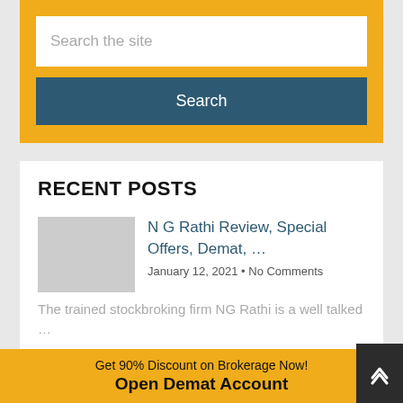[Figure (screenshot): Search widget with yellow background, white input box with placeholder 'Search the site', and a dark teal Search button]
RECENT POSTS
N G Rathi Review, Special Offers, Demat, …
January 12, 2021 • No Comments
The trained stockbroking firm NG Rathi is a well talked …
Get 90% Discount on Brokerage Now! Open Demat Account